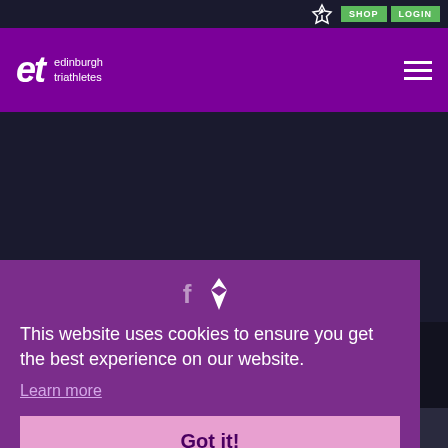SHOP  LOGIN
[Figure (logo): Edinburgh Triathletes logo - 'et' in white italic on purple background with text 'edinburgh triathletes']
This website uses cookies to ensure you get the best experience on our website.
Learn more
Got it!
018 © Copyright Edinburgh Triathletes. Website Supported by Pinnacle IT. Sponsors. Company. Printable Information Solutions.